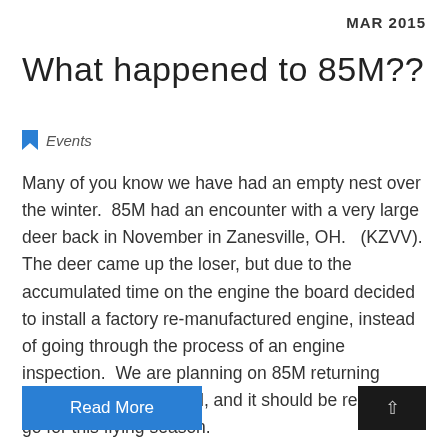MAR 2015
What happened to 85M??
Events
Many of you know we have had an empty nest over the winter.  85M had an encounter with a very large deer back in November in Zanesville, OH.   (KZVV). The deer came up the loser, but due to the accumulated time on the engine the board decided to install a factory remanufactured engine, instead of going through the process of an engine inspection.  We are planning on 85M returning home sometime in April, and it should be ready to go for this flying season.
Read More